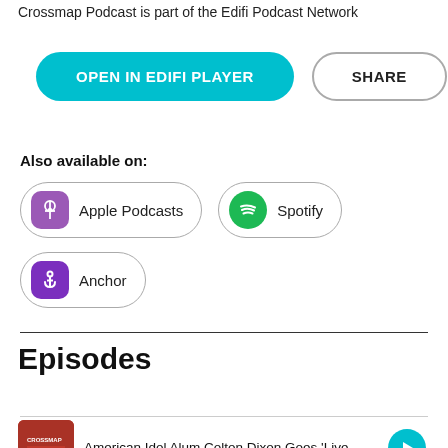Crossmap Podcast is part of the Edifi Podcast Network
OPEN IN EDIFI PLAYER
SHARE
Also available on:
Apple Podcasts
Spotify
Anchor
Episodes
American Idol Alum Colton Dixon Goes 'Live